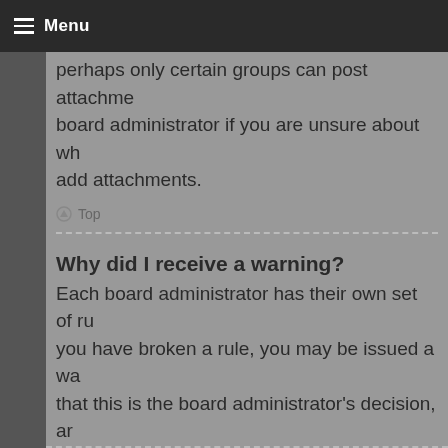Menu
perhaps only certain groups can post attachments. Contact the board administrator if you are unsure about why you cannot add attachments.
Top
Why did I receive a warning?
Each board administrator has their own set of rules. If you have broken a rule, you may be issued a warning. Please note that this is the board administrator's decision, and the phpBB Limited has nothing to do with the warnings on the given site. Contact the board administrator if you are unsure about why you were issued a warning.
Top